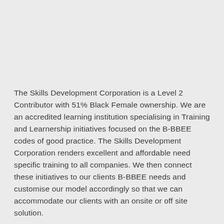The Skills Development Corporation is a Level 2 Contributor with 51% Black Female ownership. We are an accredited learning institution specialising in Training and Learnership initiatives focused on the B-BBEE codes of good practice. The Skills Development Corporation renders excellent and affordable need specific training to all companies. We then connect these initiatives to our clients B-BBEE needs and customise our model accordingly so that we can accommodate our clients with an onsite or off site solution.